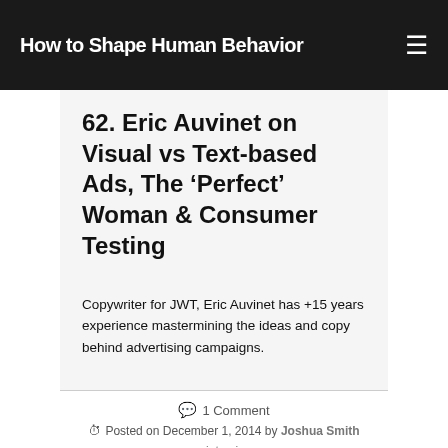How to Shape Human Behavior
62. Eric Auvinet on Visual vs Text-based Ads, The ‘Perfect’ Woman & Consumer Testing
Copywriter for JWT, Eric Auvinet has +15 years experience mastermining the ideas and copy behind advertising campaigns.
1 Comment
Posted on December 1, 2014 by Joshua Smith
interview
advertising, bmw, bouygues, copywriters, dove, europe, france, interviews,